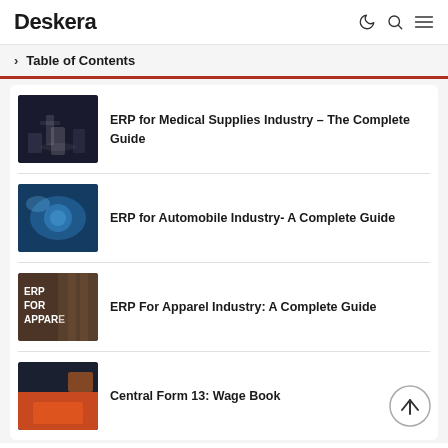Deskera
Table of Contents
ERP for Medical Supplies Industry – The Complete Guide
ERP for Automobile Industry- A Complete Guide
ERP For Apparel Industry: A Complete Guide
Central Form 13: Wage Book